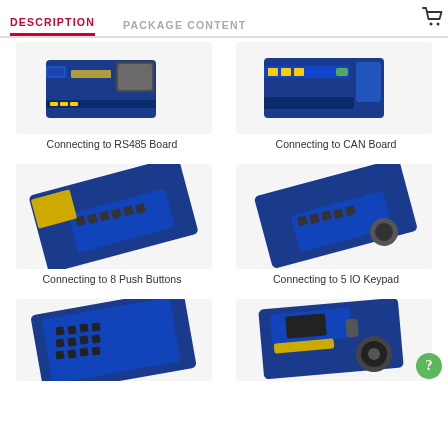DESCRIPTION | PACKAGE CONTENT
[Figure (photo): Photo of electronic board connecting to RS485 Board]
Connecting to RS485 Board
[Figure (photo): Photo of electronic board connecting to CAN Board]
Connecting to CAN Board
[Figure (photo): Photo of electronic board connecting to 8 Push Buttons]
Connecting to 8 Push Buttons
[Figure (photo): Photo of electronic board connecting to 5 IO Keypad]
Connecting to 5 IO Keypad
[Figure (photo): Photo of electronic board connecting to a matrix keypad module]
[Figure (photo): Photo of electronic board connecting to a speaker/audio module]